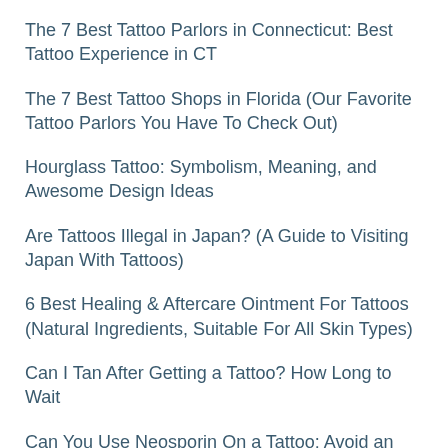The 7 Best Tattoo Parlors in Connecticut: Best Tattoo Experience in CT
The 7 Best Tattoo Shops in Florida (Our Favorite Tattoo Parlors You Have To Check Out)
Hourglass Tattoo: Symbolism, Meaning, and Awesome Design Ideas
Are Tattoos Illegal in Japan? (A Guide to Visiting Japan With Tattoos)
6 Best Healing & Aftercare Ointment For Tattoos (Natural Ingredients, Suitable For All Skin Types)
Can I Tan After Getting a Tattoo? How Long to Wait
Can You Use Neosporin On a Tattoo: Avoid an Ugly Mess
How Much Will You Pay For a Tattoo in Singapore (As well As Best Tattoo Shop & Tattoo Removal Cost Singapore)